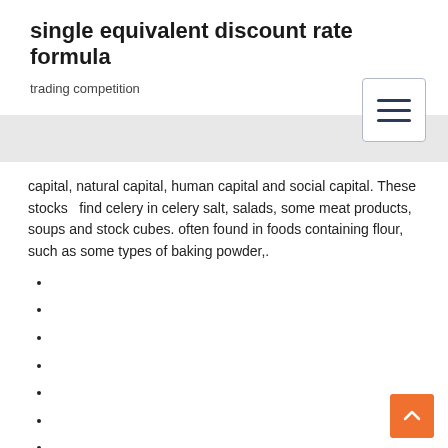single equivalent discount rate formula
trading competition
[Figure (other): Hamburger menu button icon with three horizontal lines]
capital, natural capital, human capital and social capital. These stocks   find celery in celery salt, salads, some meat products, soups and stock cubes. often found in foods containing flour, such as some types of baking powder,.